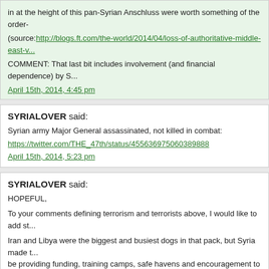in at the height of this pan-Syrian Anschluss were worth something of the order-
(source: http://blogs.ft.com/the-world/2014/04/loss-of-authoritative-middle-east-v...
COMMENT: That last bit includes involvement (and financial dependence) by S...
April 15th, 2014, 4:45 pm
SYRIALOVER said:
Syrian army Major General assassinated, not killed in combat:
https://twitter.com/THE_47th/status/455636975060389888
April 15th, 2014, 5:23 pm
SYRIALOVER said:
HOPEFUL,
To your comments defining terrorism and terrorists above, I would like to add st...
Iran and Libya were the biggest and busiest dogs in that pack, but Syria made t... be providing funding, training camps, safe havens and encouragement to a vari...
Syria is now believed to have been the home of a terrorist cell that carried out t...
And the death of Lebanon's leader Rafik Hariri in a downtown bombing in 2005...
Here's what was being said about Syria even back in 1987:
"Observers believe that Assad has long used terrorism to further Syrian policy c... assassinating Jordanian diplomats. PLO leaders have accused Syria of the ass... near a Syrian checkpoint in the Biqa Valley in eastern Lebanon in 1982. Accord... 1983," several attacks by members of the Abu Nidal organization reflected Syria... the assassination at the International Conference of Socialists in Portugal of D...